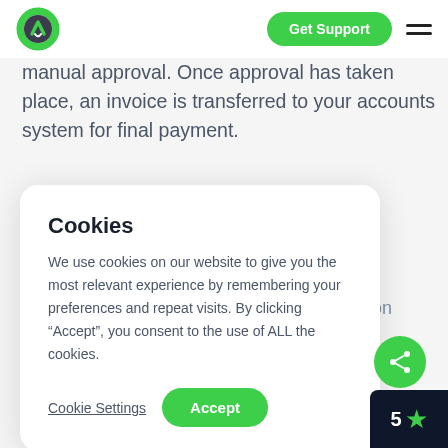[Figure (logo): Green and black circular logo with arrow/road icon]
Get Support
manual approval. Once approval has taken place, an invoice is transferred to your accounts system for final payment.
e
of each
hived
ormation
n.

ccess
ver they
Cookies
We use cookies on our website to give you the most relevant experience by remembering your preferences and repeat visits. By clicking “Accept”, you consent to the use of ALL the cookies.
Cookie Settings
Accept
[Figure (other): Green share/network icon button]
5